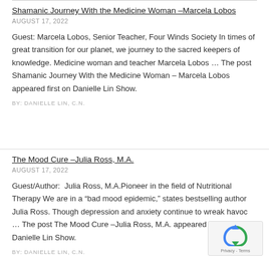Shamanic Journey With the Medicine Woman –Marcela Lobos
AUGUST 17, 2022
Guest: Marcela Lobos, Senior Teacher, Four Winds Society In times of great transition for our planet, we journey to the sacred keepers of knowledge. Medicine woman and teacher Marcela Lobos ... The post Shamanic Journey With the Medicine Woman – Marcela Lobos appeared first on Danielle Lin Show.
BY: DANIELLE LIN, C.N.
The Mood Cure –Julia Ross, M.A.
AUGUST 17, 2022
Guest/Author:  Julia Ross, M.A.Pioneer in the field of Nutritional Therapy We are in a “bad mood epidemic,” states bestselling author Julia Ross. Though depression and anxiety continue to wreak havoc ... The post The Mood Cure –Julia Ross, M.A. appeared first on Danielle Lin Show.
BY: DANIELLE LIN, C.N.